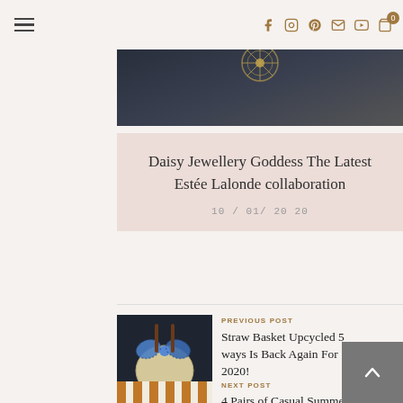Navigation header with hamburger menu and social icons (facebook, instagram, pinterest, email, youtube) and cart with 0 items
[Figure (photo): Dark background hero image with golden ornamental jewelry piece]
Daisy Jewellery Goddess The Latest Estée Lalonde collaboration
10 / 01/ 20 20
[Figure (photo): Photo of straw basket bag with blue gingham/tie-dye bow ribbons on dark background]
PREVIOUS POST
Straw Basket Upcycled 5 ways Is Back Again For 2020!
[Figure (photo): Photo of orange and white striped bag with black denim]
NEXT POST
4 Pairs of Casual Summer